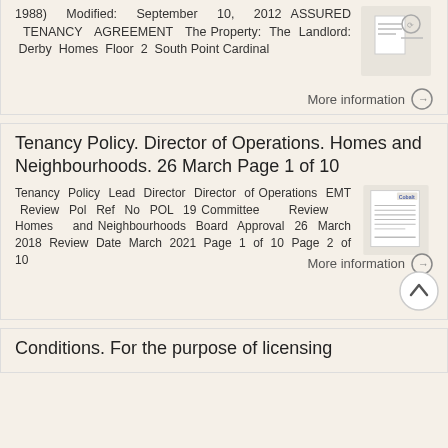1988) Modified: September 10, 2012 ASSURED TENANCY AGREEMENT The Property: The Landlord: Derby Homes Floor 2 South Point Cardinal
[Figure (illustration): Small thumbnail image of a document with a logo/icon]
More information →
Tenancy Policy. Director of Operations. Homes and Neighbourhoods. 26 March Page 1 of 10
Tenancy Policy Lead Director Director of Operations EMT Review Pol Ref No POL 19 Committee Review Homes and Neighbourhoods Board Approval 26 March 2018 Review Date March 2021 Page 1 of 10 Page 2 of 10
[Figure (illustration): Small thumbnail image of a document with Cobalt branding]
More information →
Conditions. For the purpose of licensing